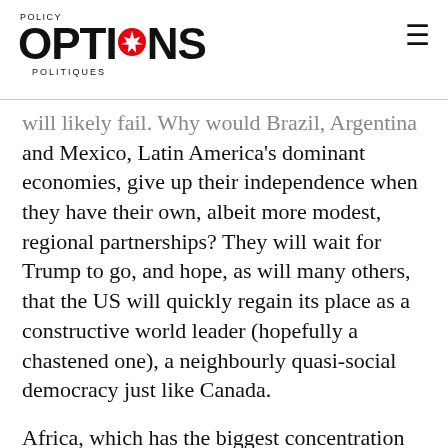POLICY OPTIONS POLITIQUES
will likely fail. Why would Brazil, Argentina and Mexico, Latin America's dominant economies, give up their independence when they have their own, albeit more modest, regional partnerships? They will wait for Trump to go, and hope, as will many others, that the US will quickly regain its place as a constructive world leader (hopefully a chastened one), a neighbourly quasi-social democracy just like Canada.
Africa, which has the biggest concentration of the world's poorest, must find the political will to move to a more inclusive, more